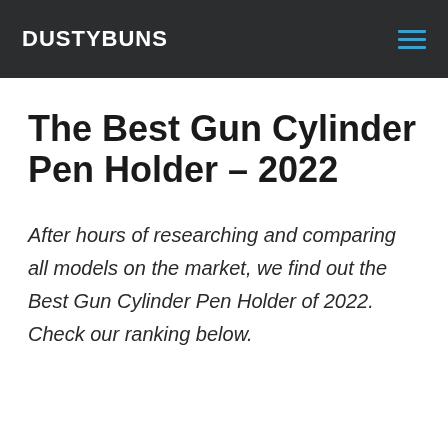DUSTYBUNS
The Best Gun Cylinder Pen Holder – 2022
After hours of researching and comparing all models on the market, we find out the Best Gun Cylinder Pen Holder of 2022. Check our ranking below.